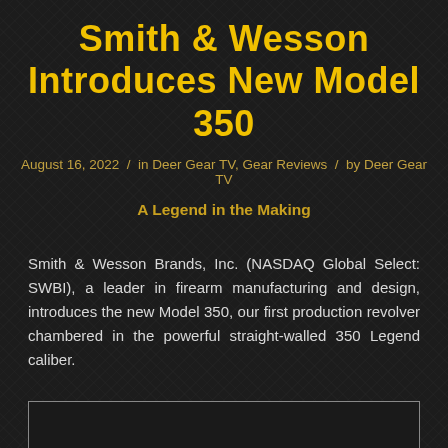Smith & Wesson Introduces New Model 350
August 16, 2022 / in Deer Gear TV, Gear Reviews / by Deer Gear TV
A Legend in the Making
Smith & Wesson Brands, Inc. (NASDAQ Global Select: SWBI), a leader in firearm manufacturing and design, introduces the new Model 350, our first production revolver chambered in the powerful straight-walled 350 Legend caliber.
[Figure (photo): Photo of the Smith & Wesson Model 350 revolver (partially visible at bottom of page)]